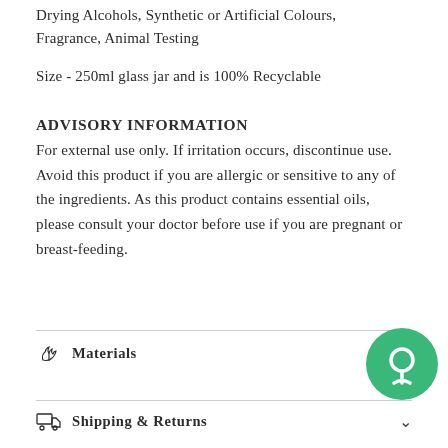Drying Alcohols, Synthetic or Artificial Colours, Fragrance, Animal Testing
Size -  250ml glass jar and is 100% Recyclable
ADVISORY INFORMATION
For external use only. If irritation occurs, discontinue use. Avoid this product if you are allergic or sensitive to any of the ingredients. As this product contains essential oils, please consult your doctor before use if you are pregnant or breast-feeding.
Materials
Shipping & Returns